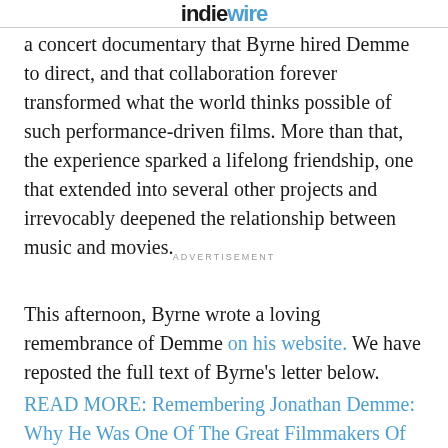IndieWire
a concert documentary that Byrne hired Demme to direct, and that collaboration forever transformed what the world thinks possible of such performance-driven films. More than that, the experience sparked a lifelong friendship, one that extended into several other projects and irrevocably deepened the relationship between music and movies.
ADVERTISEMENT
This afternoon, Byrne wrote a loving remembrance of Demme on his website. We have reposted the full text of Byrne's letter below.
READ MORE: Remembering Jonathan Demme: Why He Was One Of The Great Filmmakers Of Our Time